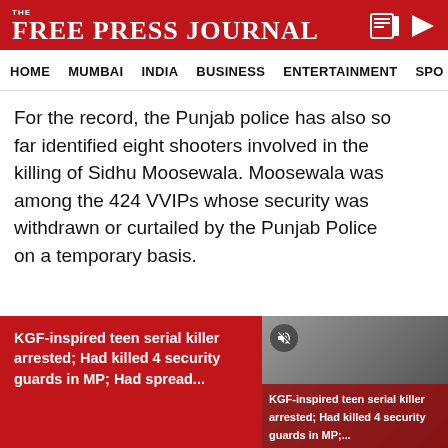FREE PRESS JOURNAL
HOME  MUMBAI  INDIA  BUSINESS  ENTERTAINMENT  SPO
For the record, the Punjab police has also so far identified eight shooters involved in the killing of Sidhu Moosewala. Moosewala was among the 424 VVIPs whose security was withdrawn or curtailed by the Punjab Police on a temporary basis.
It may be recalled that the police had so far made five arrests in the case, the first being the nabbing of Manpreet Bhau of Dhaipe village of Mansa district on May 31 for allegedly providing logistical support to
[Figure (screenshot): Bottom banner with news teaser: KGF-inspired teen serial killer arrested; Had killed 4 security guards in MP; Had spread... with a thumbnail image of a person and caption overlay.]